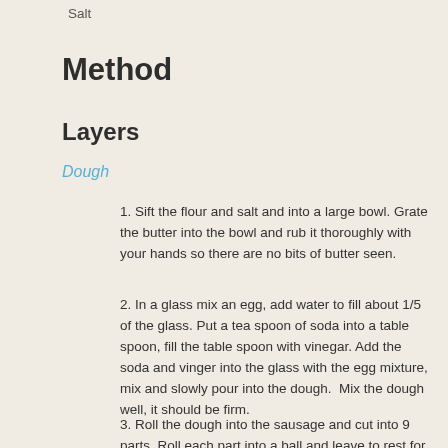Salt
Method
Layers
Dough
1. Sift the flour and salt and into a large bowl. Grate the butter into the bowl and rub it thoroughly with your hands so there are no bits of butter seen.
2. In a glass mix an egg, add water to fill about 1/5 of the glass. Put a tea spoon of soda into a table spoon, fill the table spoon with vinegar. Add the soda and vinger into the glass with the egg mixture, mix and slowly pour into the dough.  Mix the dough well, it should be firm.
3. Roll the dough into the sausage and cut into 9 parts. Roll each part into a ball and leave to rest for 4 hours in